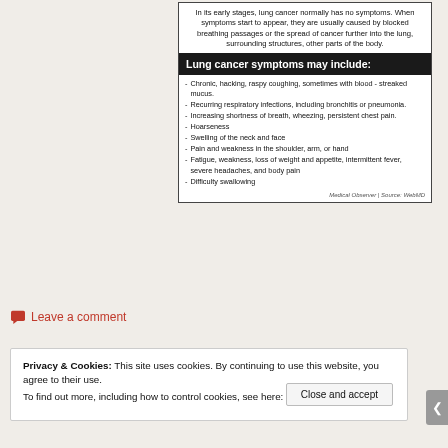In its early stages, lung cancer normally has no symptoms. When symptoms start to appear, they are usually caused by blocked breathing passages or the spread of cancer further into the lung, surrounding structures, other parts of the body.
Lung cancer symptoms may include:
Chronic, hacking, raspy coughing, sometimes with blood-streaked mucus.
Recurring respiratory infections, including bronchitis or pneumonia.
Increasing shortness of breath, wheezing, persistent chest pain.
Hoarseness
Swelling of the neck and face
Pain and weakness in the shoulder, arm, or hand
Fatigue, weakness, loss of weight and appetite, intermittent fever, severe headaches, and body pain
Difficulty swallowing
Medical Observer | Source: WebMD
Leave a comment
Privacy & Cookies: This site uses cookies. By continuing to use this website, you agree to their use. To find out more, including how to control cookies, see here: Cookie Policy